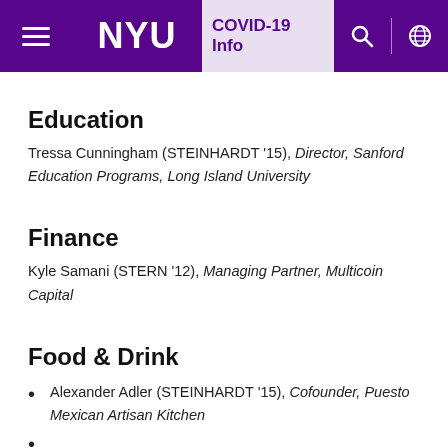NYU | COVID-19 Info
Education
Tressa Cunningham (STEINHARDT '15), Director, Sanford Education Programs, Long Island University
Finance
Kyle Samani (STERN '12), Managing Partner, Multicoin Capital
Food & Drink
Alexander Adler (STEINHARDT '15), Cofounder, Puesto Mexican Artisan Kitchen